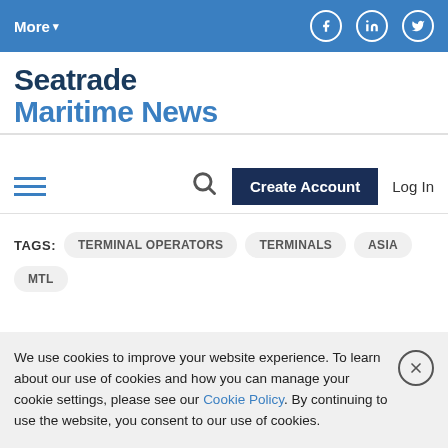More ▾   [Facebook] [LinkedIn] [Twitter]
Seatrade Maritime News
[hamburger menu]  [search]  Create Account  Log In
TAGS:  TERMINAL OPERATORS  TERMINALS  ASIA  MTL
We use cookies to improve your website experience. To learn about our use of cookies and how you can manage your cookie settings, please see our Cookie Policy. By continuing to use the website, you consent to our use of cookies.